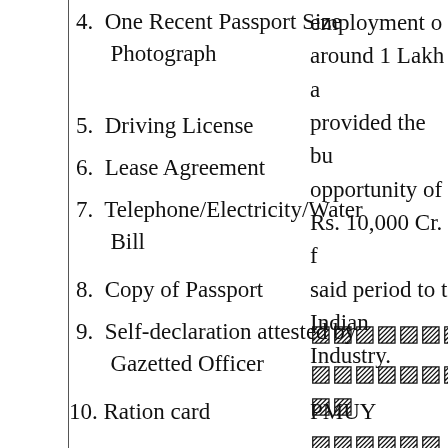4. One Recent Passport Size Photograph
5. Driving License
6. Lease Agreement
7. Telephone/Electricity/Water Bill
8. Copy of Passport
9. Self-declaration attested by Gazetted Officer
10. Ration card
11. Flat Allotment/Possession Letter
12. House Registration Documents
employment o
around 1 Lakh a
provided the bu
opportunity of
Rs. 10,000 Cr. f
said period to t
Indian Industry.
[text in regional script]
[text in regional script]
PMUY [text in regional script]
[text in regional script]
[text in regional script] 160
[text in regional script]